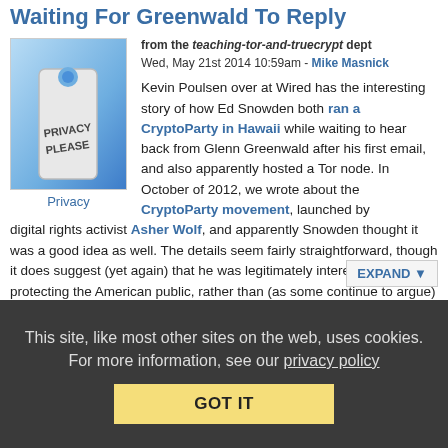Waiting For Greenwald To Reply
from the teaching-tor-and-truecrypt dept
Wed, May 21st 2014 10:59am - Mike Masnick
[Figure (photo): Privacy Please door hanger sign with blue background]
Privacy
Kevin Poulsen over at Wired has the interesting story of how Ed Snowden both ran a CryptoParty in Hawaii while waiting to hear back from Glenn Greenwald after his first email, and also apparently hosted a Tor node. In October of 2012, we wrote about the CryptoParty movement, launched by digital rights activist Asher Wolf, and apparently Snowden thought it was a good idea as well. The details seem fairly straightforward, though it does suggest (yet again) that he was legitimately interested in protecting the American public, rather than (as some continue to argue) working for some "foreign power." At the CryptoParty, he apparently taught folks how to use TrueCrypt and Tor.
This site, like most other sites on the web, uses cookies. For more information, see our privacy policy
GOT IT